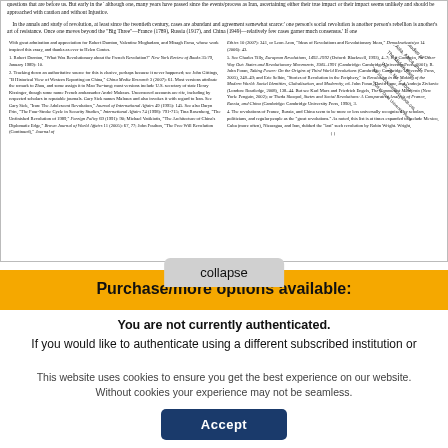questions that are before us. But early in the 'although one, many years have passed since the events/process as Iran, ascertaining either their true impact or their impact seems unlikely and should be approached with caution and without Injustice.
In the annals and study of revolution, at least since the twentieth century, cases are abundant and agreement somewhat scarce: one person's social revolution is another person's rebellion is another's art of resistance. Once one moves beyond the 'Big Three'—France (1789), Russia (1917), and China (1949)—relatively few cases garner much consensus. If one
With great admiration and appreciation for Robert Darnton, Valentine Moghadam, and Misagh Parsa, whose work inspired this essay, and thanks as ever to Helen Contes.
1. Robert Darnton, 'What Was Revolutionary about the French Revolution?' New York Review of Books 35:79, January 1989): 10.
2. Tracking down an authoritative source for this is elusive, perhaps because it never happened; see John Gittings, 'A Satirical View of Western Reporting on China,' China Media Research 3 (2007): 61. Most versions attribute the remark to Zhou, and some assign it to Mao Tse-tung; most versions include U.S. secretary of state Henry Kissinger, though some name French ambassador André Malraux. Uncensored accounts are rife, including by respected scholars in reputable journals. Gary Sick names Malraux and also invokes it with regard to Iran. See Gary Sick, 'Iran: The Adolescent Revolution,' Journal of International Affairs 49 (1995): 145. See also Daryn Prin, 'The Four-Stroke Cycle in Security Studies,' International Affairs 74 (1998): 791-715; Tina Rosenberg, 'The Unfinished Revolution of 1989,' Foreign Policy 69 (1991): 90; Michael Vatikiotis, 'The Architecture of China's Diplomatic Edge,' Brown Journal of World Affairs 11 (2005): 67, 77; John Foulton, 'The Free Will Revolution (Continued),' Journal of
Ethics 10 (2007): 341, or Leon Aron, 'Ideas of Revolutions and Revolutionary Ideas,' Demokratizatsiya 14 (2006): 43.
5. See Charles Tilly, European Revolutions, 1492–1992 (Oxford: Blackwell, 1993), 4–7; Jeff Goodwin, No Other Way Out: States and Revolutionary Movements, 1945–1991 (Cambridge: Cambridge University Press, 2001); R. John Foran, Taking Power: On the Origins of Third World Revolutions (Cambridge: Cambridge University Press, 2005), 248–49; and Eric Selbin, 'Stories of Revolution in the Periphery,' in Revolution in the Making of the Modern World: Social Identities, Globalization, and Modernity, ed. John Foran, David Lane, and Andreja Zivkovic (London: Routledge, 2008), 138–44. But see Karl Marx and Friedrich Engels, The Communist Manifesto (New York: Penguin, 2002); or Theda Skocpol, States and Social Revolutions: A Comparative Analysis of France, Russia, and China (Cambridge: Cambridge University Press, 1990), 3.
4. The revolutions of France, Russia, and China seem to be more or less universally recognized by scholars, politicians, and regular people as the 'great revolutions.' As noted, this list is at times expanded to include Mexico, Cuba (more often), Nicaragua, and Iran, dubbed the 'last' such revolution by Robin Wright. Wright,
{ }
[Figure (other): Journal watermark text rotated diagonally: 'Comparative Studies of South Asia, Africa and The Middle East, Vol. 29, No. 1, 2009, DOI 10.1215/1089201x-2008-046, © 2009 by Duke University Press']
Purchase/more options available:
collapse
You are not currently authenticated.
If you would like to authenticate using a different subscribed institution or
This website uses cookies to ensure you get the best experience on our website. Without cookies your experience may not be seamless.
Accept